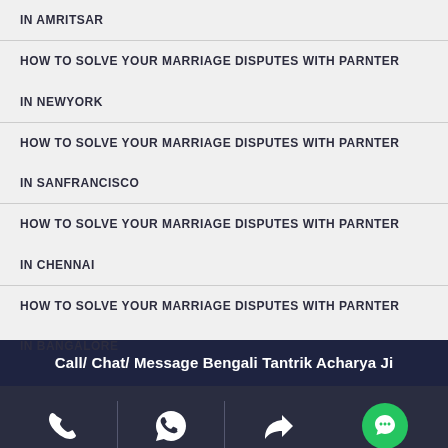IN AMRITSAR
HOW TO SOLVE YOUR MARRIAGE DISPUTES WITH PARNTER IN NEWYORK
HOW TO SOLVE YOUR MARRIAGE DISPUTES WITH PARNTER IN SANFRANCISCO
HOW TO SOLVE YOUR MARRIAGE DISPUTES WITH PARNTER IN CHENNAI
HOW TO SOLVE YOUR MARRIAGE DISPUTES WITH PARNTER IN BANGALORE
Call/ Chat/ Message Bengali Tantrik Acharya Ji